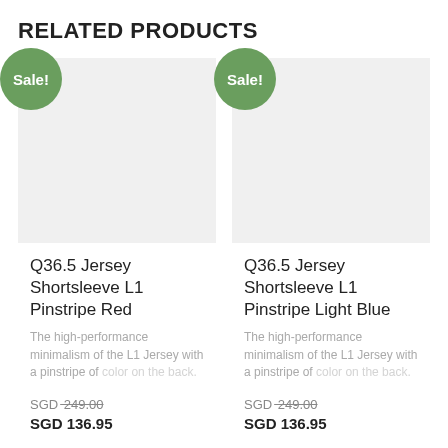RELATED PRODUCTS
[Figure (other): Product card for Q36.5 Jersey Shortsleeve L1 Pinstripe Red with Sale badge, grey image placeholder, product name, description, original price SGD 249.00 and sale price SGD 136.95]
[Figure (other): Product card for Q36.5 Jersey Shortsleeve L1 Pinstripe Light Blue with Sale badge, grey image placeholder, product name, description, original price SGD 249.00 and sale price SGD 136.95]